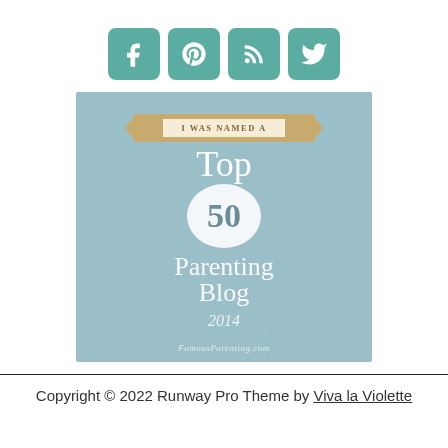[Figure (infographic): Four teal social media icon buttons: Facebook (f), Pinterest (p), RSS feed, Twitter (bird)]
[Figure (illustration): Badge on blue-grey background reading 'I WAS NAMED A Top 50 Parenting Blog 2014' with FamousParenting.com attribution]
Copyright © 2022 Runway Pro Theme by Viva la Violette